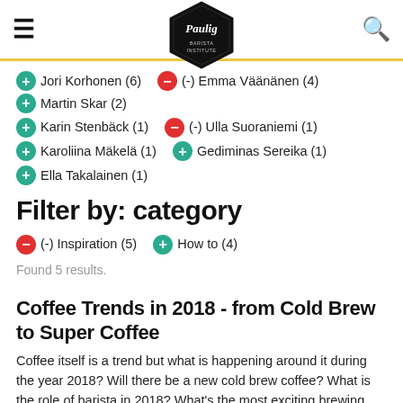Paulig Barista Institute
Jori Korhonen (6)
(-) Emma Väänänen (4)
Martin Skar (2)
Karin Stenbäck (1)
(-) Ulla Suoraniemi (1)
Karoliina Mäkelä (1)
Gediminas Sereika (1)
Ella Takalainen (1)
Filter by: category
(-) Inspiration (5)
How to (4)
Found 5 results.
Coffee Trends in 2018 - from Cold Brew to Super Coffee
Coffee itself is a trend but what is happening around it during the year 2018? Will there be a new cold brew coffee? What is the role of barista in 2018? What's the most exciting brewing method? As a barista, it is important to follow what's going on